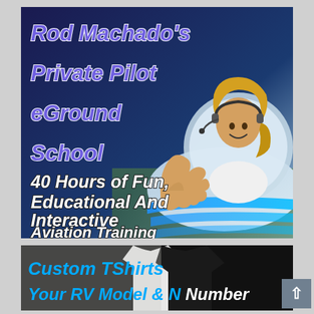[Figure (advertisement): Advertisement for Rod Machado's Private Pilot eGround School. Shows a smiling woman pilot in headset giving thumbs up from airplane cockpit, with blue sky background. Text reads 'Rod Machado's Private Pilot eGround School' in purple italic bold font, and '40 Hours of Fun, Educational And Interactive Aviation Training' in white italic bold font.]
[Figure (advertisement): Advertisement for Custom TShirts showing Your RV Model & N Number. Shows white and black t-shirts. Text in blue italic bold font.]